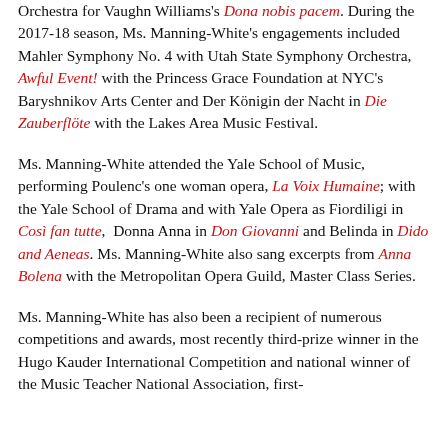Orchestra for Vaughn Williams's Dona nobis pacem. During the 2017-18 season, Ms. Manning-White's engagements included Mahler Symphony No. 4 with Utah State Symphony Orchestra, Awful Event! with the Princess Grace Foundation at NYC's Baryshnikov Arts Center and Der Königin der Nacht in Die Zauberflöte with the Lakes Area Music Festival.
Ms. Manning-White attended the Yale School of Music, performing Poulenc's one woman opera, La Voix Humaine; with the Yale School of Drama and with Yale Opera as Fiordiligi in Così fan tutte, Donna Anna in Don Giovanni and Belinda in Dido and Aeneas. Ms. Manning-White also sang excerpts from Anna Bolena with the Metropolitan Opera Guild, Master Class Series.
Ms. Manning-White has also been a recipient of numerous competitions and awards, most recently third-prize winner in the Hugo Kauder International Competition and national winner of the Music Teacher National Association, first-